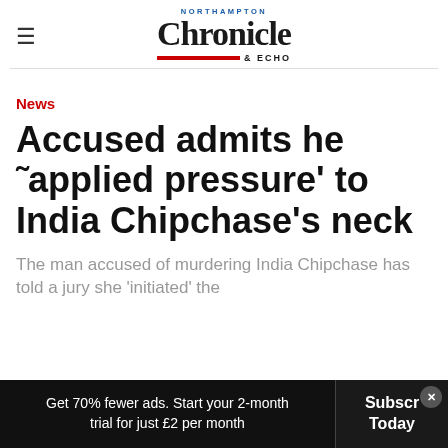NORTHAMPTON Chronicle & ECHO
News
Accused admits he 'applied pressure' to India Chipchase's neck
The man accused of murdering India Chipchase has told a jury she 'initiated' the
Get 70% fewer ads. Start your 2-month trial for just £2 per month   Subscribe Today